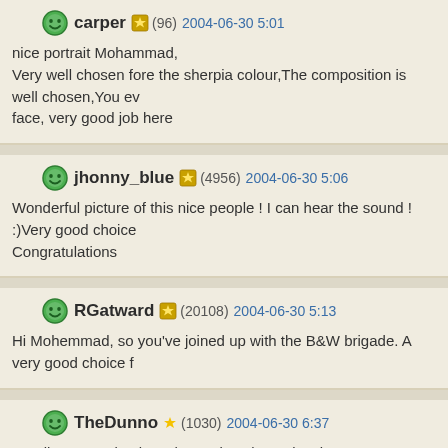carper (96) 2004-06-30 5:01
nice portrait Mohammad,
Very well chosen fore the sherpia colour,The composition is well chosen,You ev face, very good job here
jhonny_blue (4956) 2004-06-30 5:06
Wonderful picture of this nice people ! I can hear the sound ! :)Very good choice Congratulations
RGatward (20108) 2004-06-30 5:13
Hi Mohemmad, so you've joined up with the B&W brigade. A very good choice f
TheDunno (1030) 2004-06-30 6:37
excellent portrait. I love the sepia colours, its give great athmosphere. The expr The back ground is maybe a little bit distracting but that can hardly be avoided i